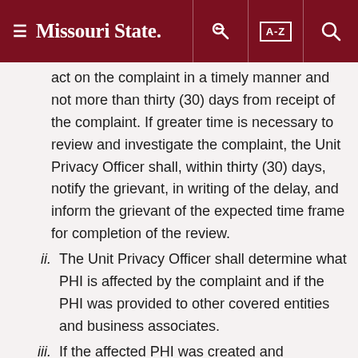≡ Missouri State. [key icon] [A-Z] [search icon]
act on the complaint in a timely manner and not more than thirty (30) days from receipt of the complaint. If greater time is necessary to review and investigate the complaint, the Unit Privacy Officer shall, within thirty (30) days, notify the grievant, in writing of the delay, and inform the grievant of the expected time frame for completion of the review.
ii. The Unit Privacy Officer shall determine what PHI is affected by the complaint and if the PHI was provided to other covered entities and business associates.
iii. If the affected PHI was created and maintained by a business associate, the complaint will be forwarded to the business associate as outlined in the